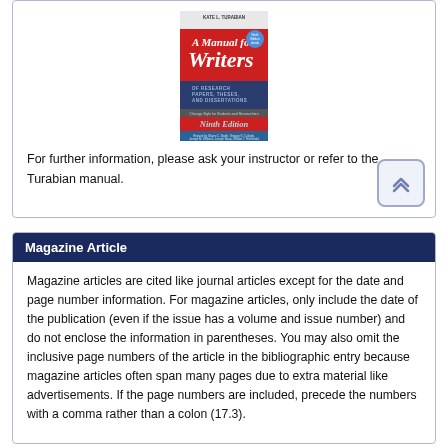[Figure (photo): Book cover of 'A Manual for Writers of Research Papers, Theses, and Dissertations' by Kate L. Turabian, Ninth Edition. Red, white, and blue cover with the title in large white letters on a red background, subtitle in dark blue text, and 'Ninth Edition' in light blue text on a red band.]
For further information, please ask your instructor or refer to the Turabian manual.
Magazine Article
Magazine articles are cited like journal articles except for the date and page number information. For magazine articles, only include the date of the publication (even if the issue has a volume and issue number) and do not enclose the information in parentheses. You may also omit the inclusive page numbers of the article in the bibliographic entry because magazine articles often span many pages due to extra material like advertisements. If the page numbers are included, precede the numbers with a comma rather than a colon (17.3).